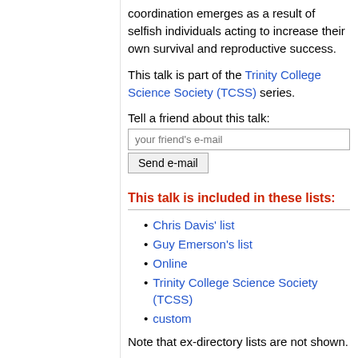coordination emerges as a result of selfish individuals acting to increase their own survival and reproductive success.
This talk is part of the Trinity College Science Society (TCSS) series.
Tell a friend about this talk:
This talk is included in these lists:
Chris Davis' list
Guy Emerson's list
Online
Trinity College Science Society (TCSS)
custom
Note that ex-directory lists are not shown.